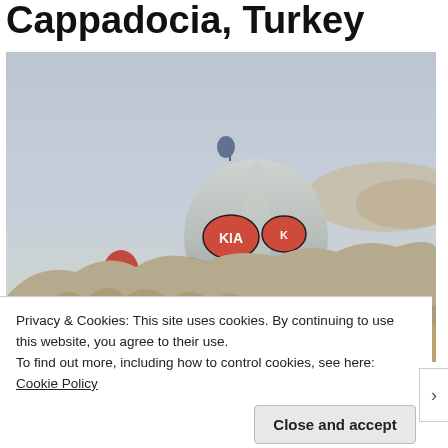Cappadocia, Turkey
[Figure (photo): Hot air balloons floating over the rocky landscape of Cappadocia, Turkey. A large white hot air balloon with Kia branding is in the foreground, with another smaller dark balloon visible higher in the misty sky. Below are the distinctive fairy chimney rock formations of the Cappadocia region.]
Privacy & Cookies: This site uses cookies. By continuing to use this website, you agree to their use.
To find out more, including how to control cookies, see here: Cookie Policy
Close and accept